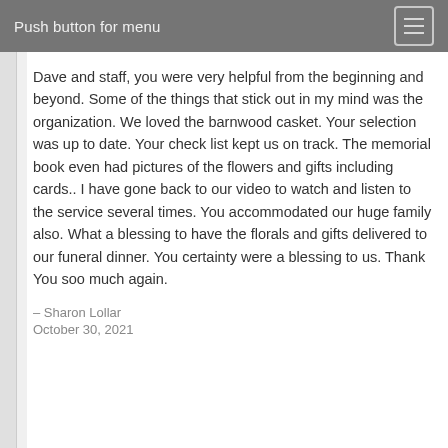Push button for menu
Dave and staff, you were very helpful from the beginning and beyond. Some of the things that stick out in my mind was the organization. We loved the barnwood casket. Your selection was up to date. Your check list kept us on track. The memorial book even had pictures of the flowers and gifts including cards.. I have gone back to our video to watch and listen to the service several times. You accommodated our huge family also. What a blessing to have the florals and gifts delivered to our funeral dinner. You certainty were a blessing to us. Thank You soo much again.
– Sharon Lollar
October 30, 2021